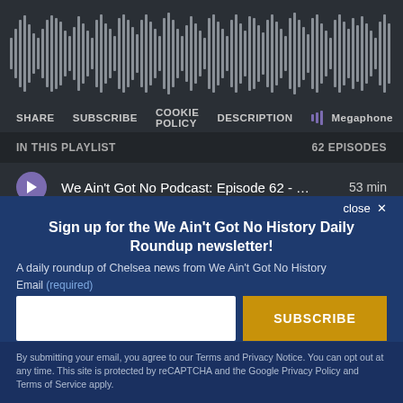[Figure (screenshot): Podcast player waveform visualization — audio waveform bars in light gray on dark background]
SHARE   SUBSCRIBE   COOKIE POLICY   DESCRIPTION   Megaphone
IN THIS PLAYLIST   62 EPISODES
We Ain't Got No Podcast: Episode 62 - … 53 min
Sign up for the We Ain't Got No History Daily Roundup newsletter!
A daily roundup of Chelsea news from We Ain't Got No History
Email (required)
SUBSCRIBE
By submitting your email, you agree to our Terms and Privacy Notice. You can opt out at any time. This site is protected by reCAPTCHA and the Google Privacy Policy and Terms of Service apply.